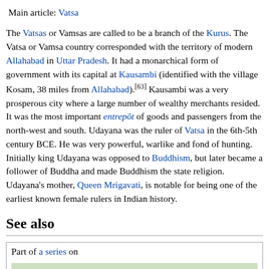Main article: Vatsa
The Vatsas or Vamsas are called to be a branch of the Kurus. The Vatsa or Vamsa country corresponded with the territory of modern Allahabad in Uttar Pradesh. It had a monarchical form of government with its capital at Kausambi (identified with the village Kosam, 38 miles from Allahabad).[63] Kausambi was a very prosperous city where a large number of wealthy merchants resided. It was the most important entrepôt of goods and passengers from the north-west and south. Udayana was the ruler of Vatsa in the 6th-5th century BCE. He was very powerful, warlike and fond of hunting. Initially king Udayana was opposed to Buddhism, but later became a follower of Buddha and made Buddhism the state religion. Udayana's mother, Queen Mrigavati, is notable for being one of the earliest known female rulers in Indian history.
See also
Part of a series on
Indo-European topics
[Figure (map): Map showing Indo-European territories with green landmass]